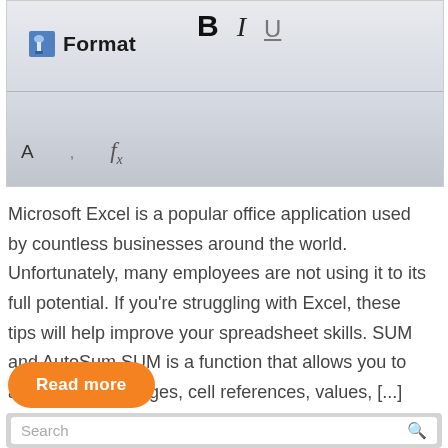[Figure (screenshot): Screenshot of Microsoft Excel toolbar showing Format label with paint brush icon, bold B, italic I, underline U buttons, and keyboard row below]
Microsoft Excel is a popular office application used by countless businesses around the world. Unfortunately, many employees are not using it to its full potential. If you're struggling with Excel, these tips will help improve your spreadsheet skills. SUM and AutoSum SUM is a function that allows you to add individual ranges, cell references, values, [...]
Read more
Search